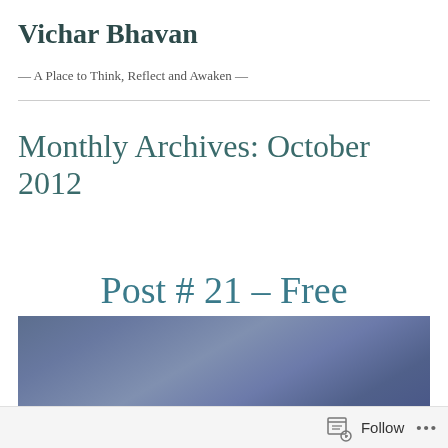Vichar Bhavan
— A Place to Think, Reflect and Awaken —
Monthly Archives: October 2012
Post # 21 – Free
[Figure (photo): A blue-purple cloudy sky or atmospheric image strip]
Follow ...